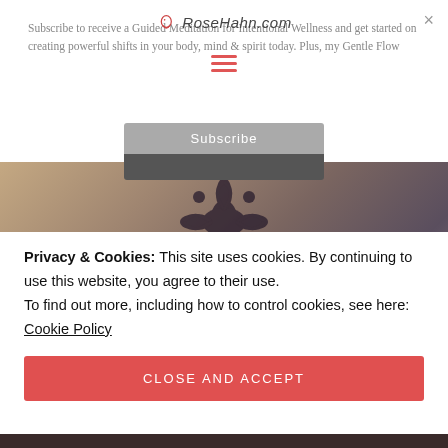[Figure (screenshot): RoseHahn.com website header with logo, hamburger menu icon, and subscribe button overlay on white/dimmed background]
Subscribe to receive a Guided Meditation for Intentional Wellness and get started on creating powerful shifts in your body, mind & spirit today. Plus, my Gentle Flow
[Figure (photo): Hero image showing hands/back with decorative damask pattern print on fabric, in muted sepia/mauve tones, with cursive script text overlay]
Privacy & Cookies: This site uses cookies. By continuing to use this website, you agree to their use.
To find out more, including how to control cookies, see here: Cookie Policy
CLOSE AND ACCEPT